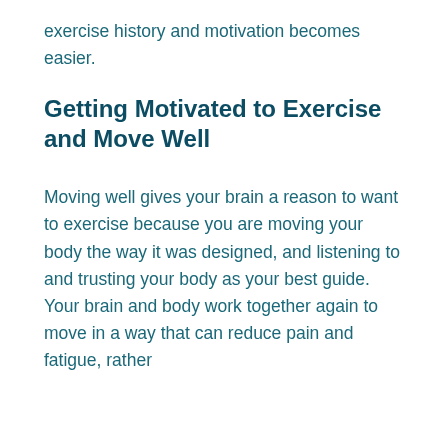exercise history and motivation becomes easier.
Getting Motivated to Exercise and Move Well
Moving well gives your brain a reason to want to exercise because you are moving your body the way it was designed, and listening to and trusting your body as your best guide. Your brain and body work together again to move in a way that can reduce pain and fatigue, rather